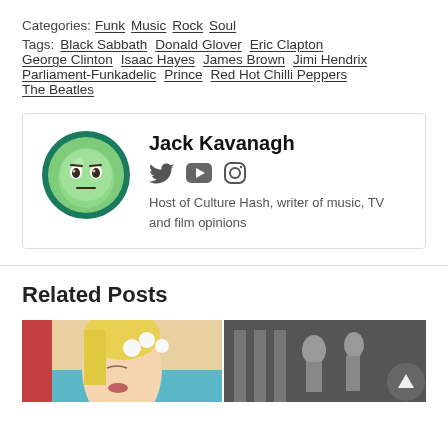Categories: Funk Music Rock Soul
Tags: Black Sabbath Donald Glover Eric Clapton George Clinton Isaac Hayes James Brown Jimi Hendrix Parliament-Funkadelic Prince Red Hot Chilli Peppers The Beatles
[Figure (illustration): Author avatar: cartoon green face with neutral expression in a dark teal circular border]
Jack Kavanagh
[Figure (infographic): Social media icons: Twitter bird, YouTube play button, Instagram camera]
Host of Culture Hash, writer of music, TV and film opinions
Related Posts
[Figure (photo): Two related post thumbnail images side by side: left shows a painting of a blonde woman with flowers, right shows a dark classical artwork with figures]